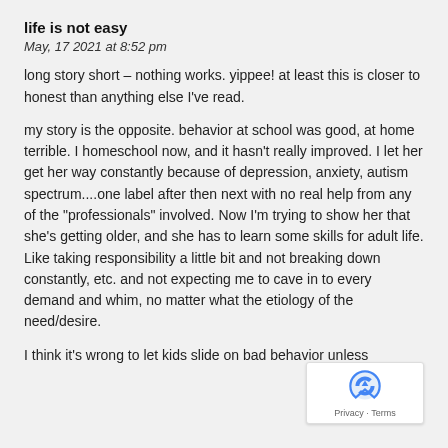life is not easy
May, 17 2021 at 8:52 pm
long story short – nothing works. yippee! at least this is closer to honest than anything else I've read.
my story is the opposite. behavior at school was good, at home terrible. I homeschool now, and it hasn't really improved. I let her get her way constantly because of depression, anxiety, autism spectrum....one label after then next with no real help from any of the "professionals" involved. Now I'm trying to show her that she's getting older, and she has to learn some skills for adult life. Like taking responsibility a little bit and not breaking down constantly, etc. and not expecting me to cave in to every demand and whim, no matter what the etiology of the need/desire.
I think it's wrong to let kids slide on bad behavior unless